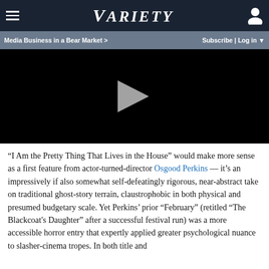≡  VARIETY  [user icon]
Media Business in a Bear Market >   Subscribe | Log in ▼
[Figure (screenshot): Black video player with a light gray triangular play button in the center]
“I Am the Pretty Thing That Lives in the House” would make more sense as a first feature from actor-turned-director Osgood Perkins — it’s an impressively if also somewhat self-defeatingly rigorous, near-abstract take on traditional ghost-story terrain, claustrophobic in both physical and presumed budgetary scale. Yet Perkins’ prior “February” (retitled “The Blackcoat's Daughter” after a successful festival run) was a more accessible horror entry that expertly applied greater psychological nuance to slasher-cinema tropes. In both title and